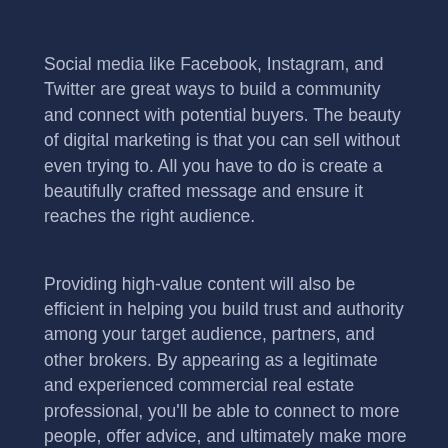Social media like Facebook, Instagram, and Twitter are great ways to build a community and connect with potential buyers. The beauty of digital marketing is that you can sell without even trying to. All you have to do is create a beautifully crafted message and ensure it reaches the right audience.
Providing high-value content will also be efficient in helping you build trust and authority among your target audience, partners, and other brokers. By appearing as a legitimate and experienced commercial real estate professional, you'll be able to connect to more people, offer advice, and ultimately make more sales.